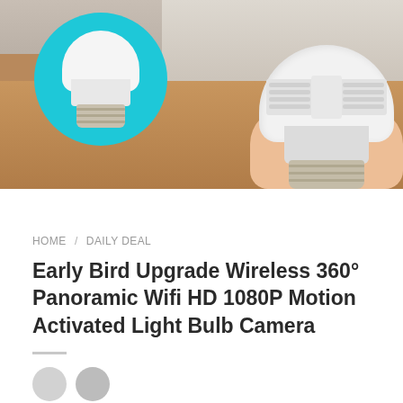[Figure (photo): Product photo showing a white light bulb camera being held in a hand. On the left is a circular teal/cyan badge showing the bulb camera from the side. The background shows a living room with a sofa and wooden floor.]
HOME / DAILY DEAL
Early Bird Upgrade Wireless 360° Panoramic Wifi HD 1080P Motion Activated Light Bulb Camera